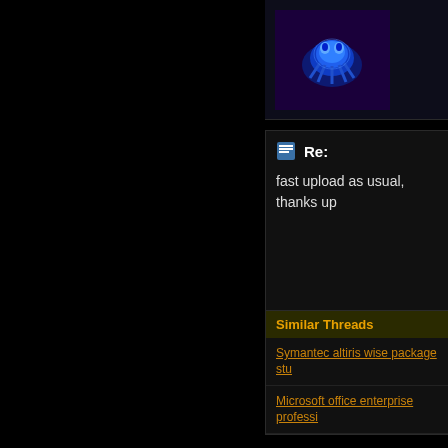[Figure (photo): Blue glowing creature/object on dark purple background, appears to be a forum avatar image]
Re:
fast upload as usual, thanks up
Similar Threads
Symantec altiris wise package stu
Microsoft office enterprise professi